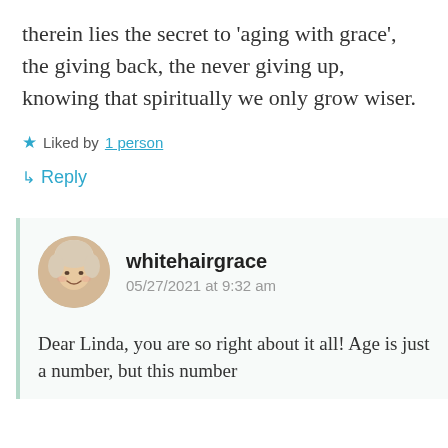therein lies the secret to 'aging with grace', the giving back, the never giving up, knowing that spiritually we only grow wiser.
★ Liked by 1 person
↳ Reply
whitehairgrace
05/27/2021 at 9:32 am
Dear Linda, you are so right about it all! Age is just a number, but this number